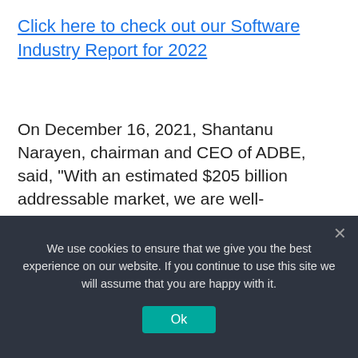Click here to check out our Software Industry Report for 2022
On December 16, 2021, Shantanu Narayen, chairman and CEO of ADBE, said, “With an estimated $205 billion addressable market, we are well-positioned for significant growth in the years ahead with our industry-leading products and platforms.”
Recent Financial Results
We use cookies to ensure that we give you the best experience on our website. If you continue to use this site we will assume that you are happy with it.